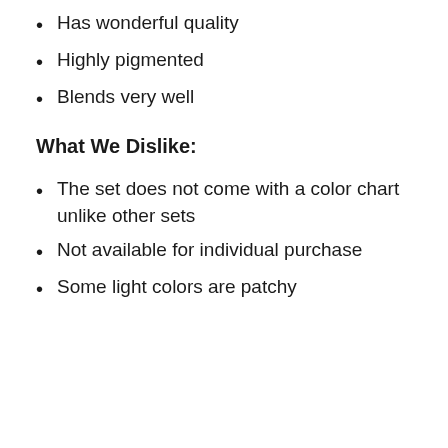Has wonderful quality
Highly pigmented
Blends very well
What We Dislike:
The set does not come with a color chart unlike other sets
Not available for individual purchase
Some light colors are patchy